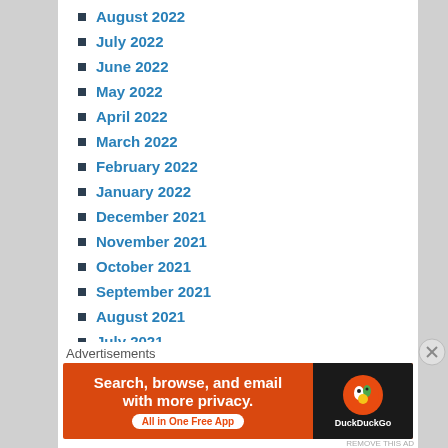August 2022
July 2022
June 2022
May 2022
April 2022
March 2022
February 2022
January 2022
December 2021
November 2021
October 2021
September 2021
August 2021
July 2021
June 2021
May 2021
April 2021
March 2021
Advertisements
[Figure (screenshot): DuckDuckGo advertisement banner: orange background with text 'Search, browse, and email with more privacy. All in One Free App' and DuckDuckGo logo on dark right panel]